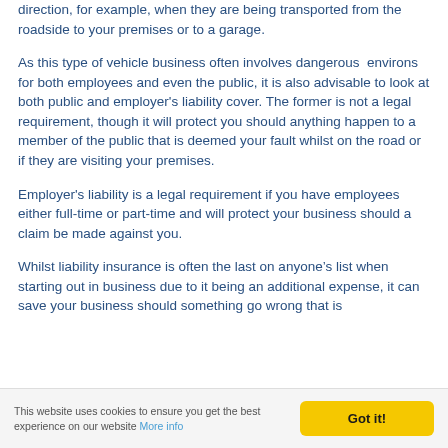direction, for example, when they are being transported from the roadside to your premises or to a garage.
As this type of vehicle business often involves dangerous environs for both employees and even the public, it is also advisable to look at both public and employer's liability cover. The former is not a legal requirement, though it will protect you should anything happen to a member of the public that is deemed your fault whilst on the road or if they are visiting your premises.
Employer's liability is a legal requirement if you have employees either full-time or part-time and will protect your business should a claim be made against you.
Whilst liability insurance is often the last on anyone's list when starting out in business due to it being an additional expense, it can save your business should something go wrong that is
This website uses cookies to ensure you get the best experience on our website More info